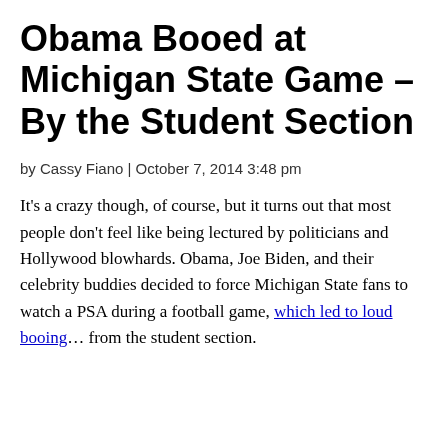Obama Booed at Michigan State Game – By the Student Section
by Cassy Fiano | October 7, 2014 3:48 pm
It's a crazy though, of course, but it turns out that most people don't feel like being lectured by politicians and Hollywood blowhards. Obama, Joe Biden, and their celebrity buddies decided to force Michigan State fans to watch a PSA during a football game, which led to loud booing… from the student section.